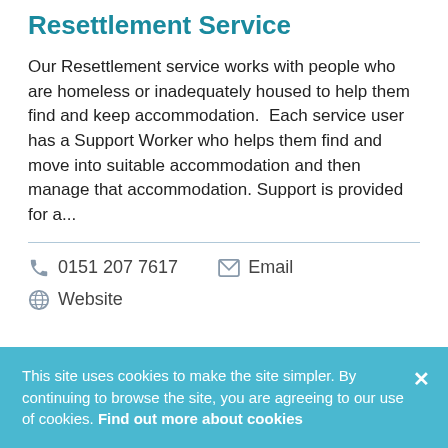Resettlement Service
Our Resettlement service works with people who are homeless or inadequately housed to help them find and keep accommodation.  Each service user has a Support Worker who helps them find and move into suitable accommodation and then manage that accommodation. Support is provided for a...
0151 207 7617   Email   Website
This site uses cookies to make the site simpler. By continuing to browse the site, you are agreeing to our use of cookies. Find out more about cookies